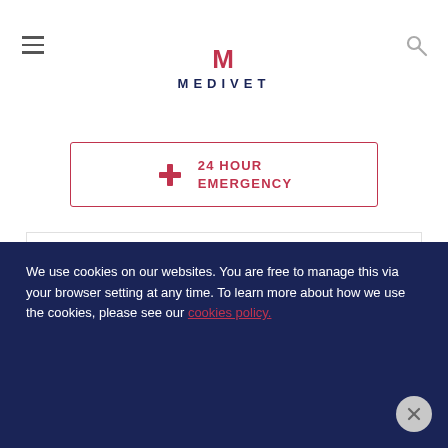MEDIVET
24 HOUR EMERGENCY
our advice on caring for your cat in the winter.
PET ADVICE
Grooming your cat for cold weather
We use cookies on our websites. You are free to manage this via your browser setting at any time. To learn more about how we use the cookies, please see our cookies policy.